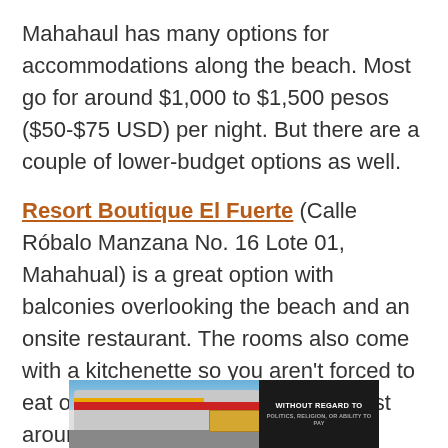Mahahaul has many options for accommodations along the beach. Most go for around $1,000 to $1,500 pesos ($50-$75 USD) per night. But there are a couple of lower-budget options as well.
Resort Boutique El Fuerte (Calle Róbalo Manzana No. 16 Lote 01, Mahahual) is a great option with balconies overlooking the beach and an onsite restaurant. The rooms also come with a kitchenette so you aren't forced to eat out at every meal. The rooms cost around $1,500 pesos per night.
[Figure (photo): Advertisement image showing cargo being loaded onto an airplane on a tarmac, with a dark banner on the right reading 'WITHOUT REGARD TO' in white text on black background]